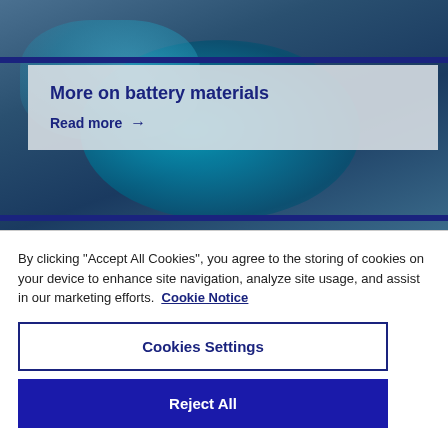[Figure (photo): Background photo of EV charging plug connector in blue tones]
More on battery materials
Read more →
By clicking "Accept All Cookies", you agree to the storing of cookies on your device to enhance site navigation, analyze site usage, and assist in our marketing efforts.  Cookie Notice
Cookies Settings
Reject All